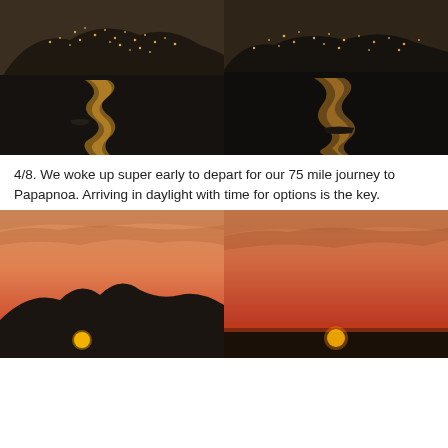[Figure (photo): Night/dusk photo of a hillside town with lights reflecting golden on dark water, small boats visible]
[Figure (photo): Night/dusk photo of a hillside town with lights, darker tones, water in foreground with reflections]
4/8. We woke up super early to depart for our 75 mile journey to Papapnoa.  Arriving in daylight with time for options is the key.
[Figure (photo): Sunset photo with orange-red sky, dark silhouetted mountains/hills, sun low on horizon]
[Figure (photo): Sunset photo with deep orange-red sky and sun near horizon, similar to left photo]